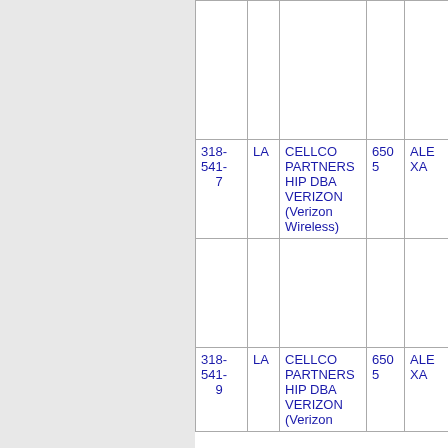| Number | State | Company | Code | City |
| --- | --- | --- | --- | --- |
|  |  |  |  |  |
| 318-541-7 | LA | CELLCO PARTNERSHIP DBA VERIZON (Verizon Wireless) | 6505 | ALEXA... |
| 318-541-9 | LA | CELLCO PARTNERSHIP DBA VERIZON (Verizon... | 6505 | ALEXA... |